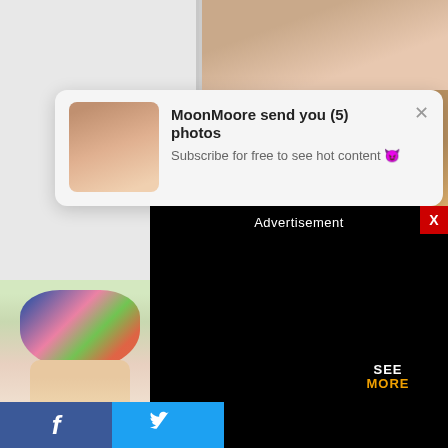[Figure (screenshot): Website screenshot showing a grid of photos with an adult content notification popup overlay reading 'MoonMoore send you (5) photos / Subscribe for free to see hot content' and a black advertisement overlay with 'Advertisement' title and red X close button, plus social sharing bar at bottom with Facebook and Twitter buttons]
MoonMoore send you (5) photos
Subscribe for free to see hot content 😈
Advertisement
X
SEE MORE